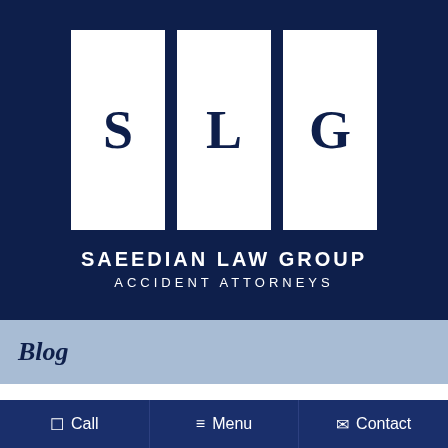[Figure (logo): Saeedian Law Group logo with three white boxes containing letters S, L, G on a dark navy background, with firm name SAEEDIAN LAW GROUP ACCIDENT ATTORNEYS below in white text]
Blog
🏠 > Blog > How to Get Your Huntington Beach Accident Report
How to Get Your
Call   Menu   Contact